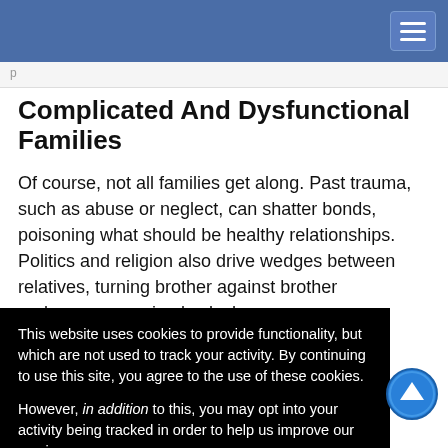Navigation bar with hamburger menu
Complicated And Dysfunctional Families
Of course, not all families get along. Past trauma, such as abuse or neglect, can shatter bonds, poisoning what should be healthy relationships. Politics and religion also drive wedges between relatives, turning brother against brother and [partially obscured] a simple clash [obscured] family [obscured] e these, some [obscured] ttitude toward [obscured] ggest. Most [obscured] PC at worst, [obscured] n extreme
This website uses cookies to provide functionality, but which are not used to track your activity. By continuing to use this site, you agree to the use of these cookies.

However, in addition to this, you may opt into your activity being tracked in order to help us improve our service.

For more information, please click here
y gets along with his family is up to you. However, once the